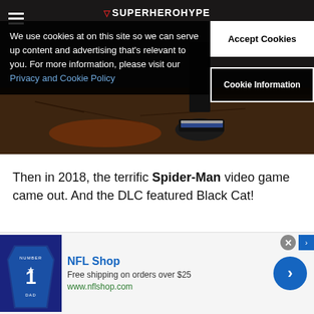[Figure (screenshot): Hero banner image showing a dark scene with a superhero foot/shoe on pavement, with SuperHeroHype logo and hamburger menu in header. A cookie consent banner overlay covers the left portion, and two buttons (Accept Cookies, Cookie Information) appear on the right.]
We use cookies at on this site so we can serve up content and advertising that's relevant to you. For more information, please visit our Privacy and Cookie Policy
Accept Cookies
Cookie Information
Then in 2018, the terrific Spider-Man video game came out. And the DLC featured Black Cat!
I really like Felicia in the game. She is so playful, geeky, an
[Figure (screenshot): NFL Shop advertisement banner showing a Dallas Cowboys jersey with number 1, NFL Shop name, 'Free shipping on orders over $25', www.nflshop.com URL, and a blue circular arrow button on the right.]